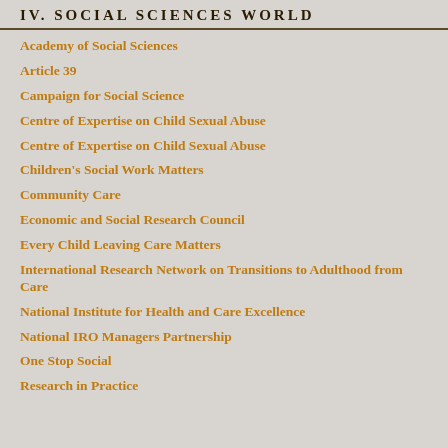IV. SOCIAL SCIENCES WORLD
Academy of Social Sciences
Article 39
Campaign for Social Science
Centre of Expertise on Child Sexual Abuse
Centre of Expertise on Child Sexual Abuse
Children's Social Work Matters
Community Care
Economic and Social Research Council
Every Child Leaving Care Matters
International Research Network on Transitions to Adulthood from Care
National Institute for Health and Care Excellence
National IRO Managers Partnership
One Stop Social
Research in Practice